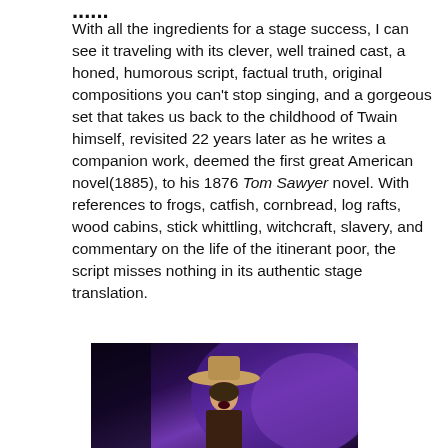...
With all the ingredients for a stage success, I can see it traveling with its clever, well trained cast, a honed, humorous script, factual truth, original compositions you can't stop singing, and a gorgeous set that takes us back to the childhood of Twain himself, revisited 22 years later as he writes a companion work, deemed the first great American novel(1885), to his 1876 Tom Sawyer novel. With references to frogs, catfish, cornbread, log rafts, wood cabins, stick whittling, witchcraft, slavery, and commentary on the life of the itinerant poor, the script misses nothing in its authentic stage translation.
[Figure (photo): A performer on stage wearing a hat, photographed against a purple/violet stage lighting background.]